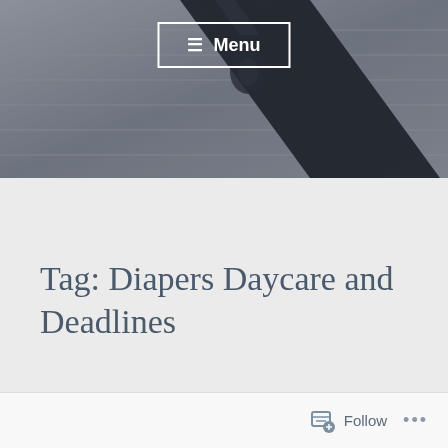[Figure (photo): Dark hero background image showing what appears to be a black pen or writing instrument on a light gray striped surface, viewed at an angle]
≡ Menu
Tag: Diapers Daycare and Deadlines
Follow •••